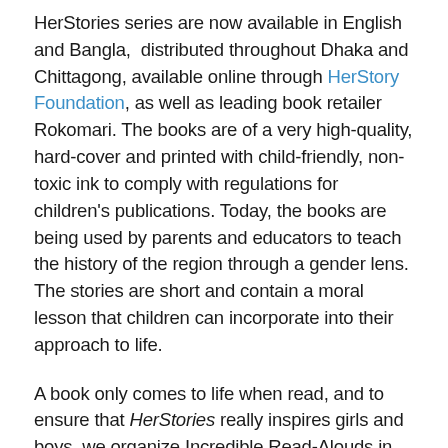HerStories series are now available in English and Bangla, distributed throughout Dhaka and Chittagong, available online through HerStory Foundation, as well as leading book retailer Rokomari. The books are of a very high-quality, hard-cover and printed with child-friendly, non-toxic ink to comply with regulations for children's publications. Today, the books are being used by parents and educators to teach the history of the region through a gender lens. The stories are short and contain a moral lesson that children can incorporate into their approach to life.
A book only comes to life when read, and to ensure that HerStories really inspires girls and boys, we organize Incredible Read-Alouds in partner schools. During the reading sessions we discuss key topics in the stories